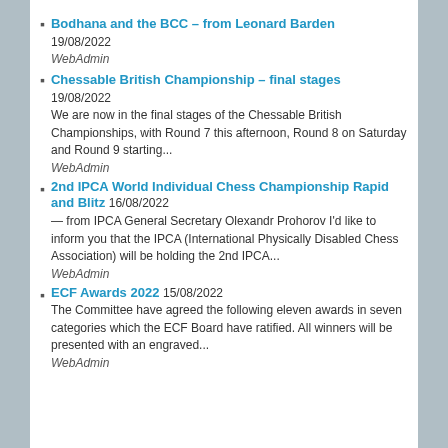Bodhana and the BCC – from Leonard Barden
19/08/2022
WebAdmin
Chessable British Championship – final stages
19/08/2022
We are now in the final stages of the Chessable British Championships, with Round 7 this afternoon, Round 8 on Saturday and Round 9 starting...
WebAdmin
2nd IPCA World Individual Chess Championship Rapid and Blitz 16/08/2022
— from IPCA General Secretary Olexandr Prohorov I'd like to inform you that the IPCA (International Physically Disabled Chess Association) will be holding the 2nd IPCA...
WebAdmin
ECF Awards 2022 15/08/2022
The Committee have agreed the following eleven awards in seven categories which the ECF Board have ratified. All winners will be presented with an engraved...
WebAdmin